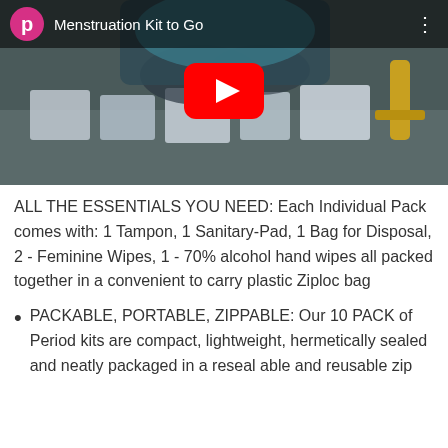[Figure (screenshot): YouTube video thumbnail showing 'Menstruation Kit to Go' with a pink P channel icon, play button, and a scene of hygiene products on a counter.]
ALL THE ESSENTIALS YOU NEED: Each Individual Pack comes with: 1 Tampon, 1 Sanitary-Pad, 1 Bag for Disposal, 2 - Feminine Wipes, 1 - 70% alcohol hand wipes all packed together in a convenient to carry plastic Ziploc bag
PACKABLE, PORTABLE, ZIPPABLE: Our 10 PACK of Period kits are compact, lightweight, hermetically sealed and neatly packaged in a reseal able and reusable zip